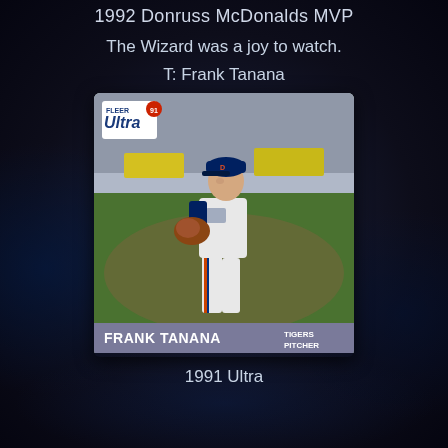1992 Donruss McDonalds MVP
The Wizard was a joy to watch.
T: Frank Tanana
[Figure (photo): 1991 Fleer Ultra baseball card featuring Frank Tanana, Detroit Tigers Pitcher, showing the player in his pitching delivery motion in a white Tigers uniform with orange and navy stripes, glove visible, on the baseball field]
1991 Ultra